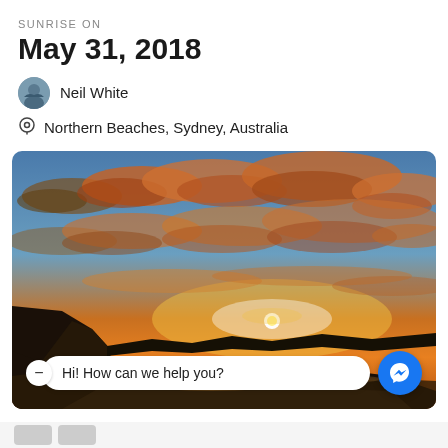SUNRISE ON
May 31, 2018
Neil White
Northern Beaches, Sydney, Australia
[Figure (photo): A sunrise photograph taken at Northern Beaches, Sydney, Australia. The image shows a dramatic sky filled with orange and golden clouds, with the sun rising just above the horizon over a rocky beach and dark ocean waters. A chat bubble overlay at the bottom reads 'Hi! How can we help you?' with a Facebook Messenger button on the right.]